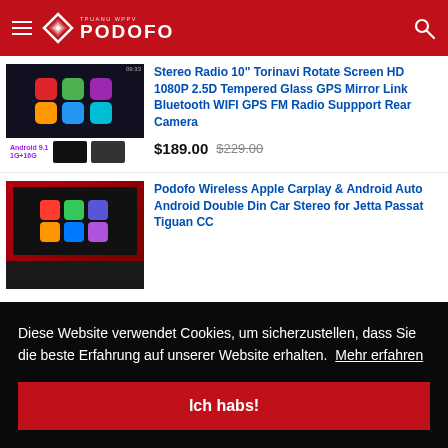PODOFO
Stereo Radio 10" Torinavi Rotate Screen HD 1080P 2.5D Tempered Glass GPS Mirror Link Bluetooth WIFI GPS FM Radio Suppport Rear Camera
$189.00  $229.00
Podofo Wireless Apple Carplay & Android Auto Android Double Din Car Stereo for Jetta Passat Tiguan CC
Diese Website verwendet Cookies, um sicherzustellen, dass Sie die beste Erfahrung auf unserer Website erhalten.  Mehr erfahren
Ich habs!